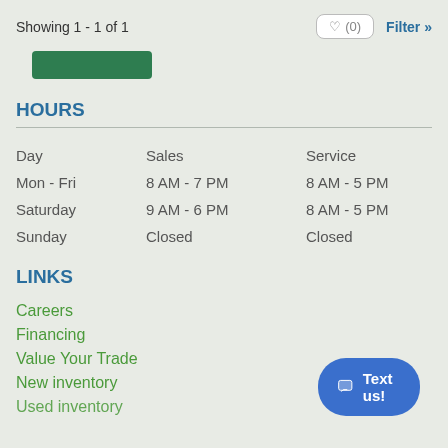Showing 1 - 1 of 1
[Figure (other): Green button placeholder at top left]
HOURS
| Day | Sales | Service |
| --- | --- | --- |
| Mon - Fri | 8 AM - 7 PM | 8 AM - 5 PM |
| Saturday | 9 AM - 6 PM | 8 AM - 5 PM |
| Sunday | Closed | Closed |
LINKS
Careers
Financing
Value Your Trade
New inventory
Used inventory
[Figure (other): Text us! chat button, blue rounded rectangle with chat icon]